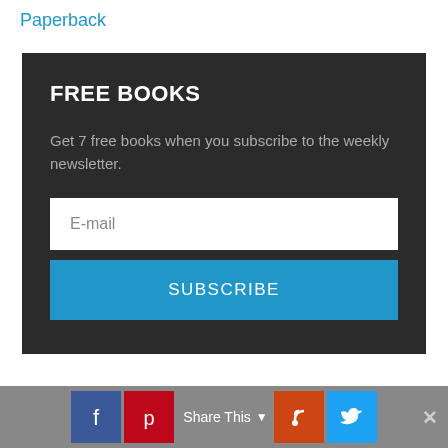Paperback
FREE BOOKS
Get 7 free books when you subscribe to the weekly newsletter.
E-mail
SUBSCRIBE
Share This